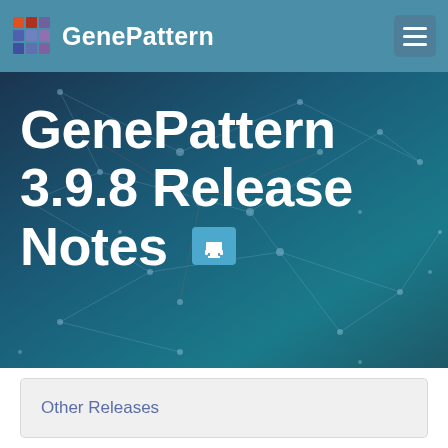GenePattern
[Figure (screenshot): GenePattern website header with logo grid and navigation hamburger menu on teal background]
GenePattern 3.9.8 Release Notes
Other Releases